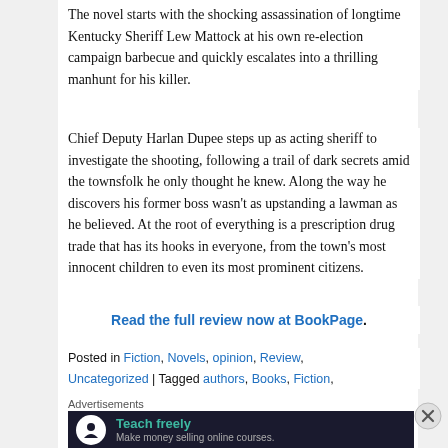The novel starts with the shocking assassination of longtime Kentucky Sheriff Lew Mattock at his own re-election campaign barbecue and quickly escalates into a thrilling manhunt for his killer.
Chief Deputy Harlan Dupee steps up as acting sheriff to investigate the shooting, following a trail of dark secrets amid the townsfolk he only thought he knew. Along the way he discovers his former boss wasn't as upstanding a lawman as he believed. At the root of everything is a prescription drug trade that has its hooks in everyone, from the town's most innocent children to even its most prominent citizens.
Read the full review now at BookPage.
Posted in Fiction, Novels, opinion, Review, Uncategorized | Tagged authors, Books, Fiction,
Advertisements
[Figure (other): Advertisement banner: dark background with tree/person icon, text 'Teach freely - Make money selling online courses.']